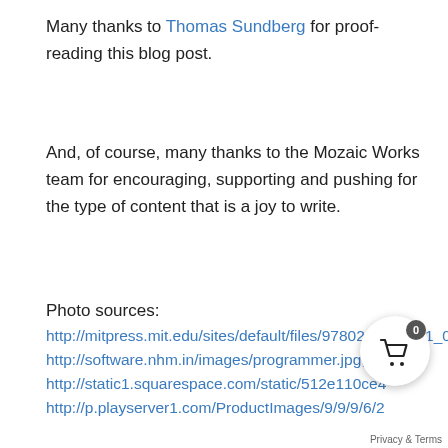Many thanks to Thomas Sundberg for proof-reading this blog post.
And, of course, many thanks to the Mozaic Works team for encouraging, supporting and pushing for the type of content that is a joy to write.
Photo sources:
http://mitpress.mit.edu/sites/default/files/9780262525671_0
http://software.nhm.in/images/programmer.jpg,
http://static1.squarespace.com/static/512e110ce4
http://p.playserver1.com/ProductImages/9/9/9/6/2